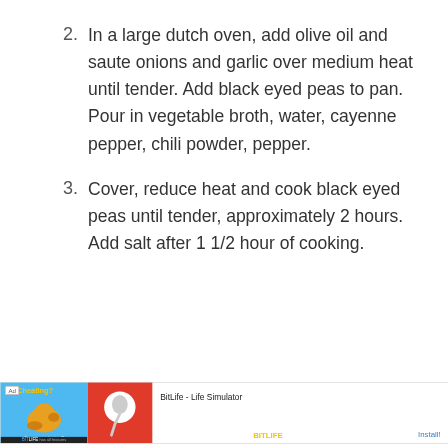2. In a large dutch oven, add olive oil and saute onions and garlic over medium heat until tender. Add black eyed peas to pan. Pour in vegetable broth, water, cayenne pepper, chili powder, pepper.
3. Cover, reduce heat and cook black eyed peas until tender, approximately 2 hours. Add salt after 1 1/2 hour of cooking.
[Figure (other): Advertisement banner for BitLife - Life Simulator app with Install button]